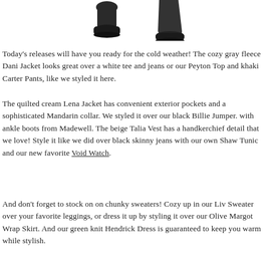[Figure (photo): Bottom portion of two black ankle boots on white background]
Today's releases will have you ready for the cold weather!  The cozy gray fleece Dani Jacket looks great over a white tee and jeans or our Peyton Top and khaki Carter Pants, like we styled it here.
The quilted cream Lena Jacket has convenient exterior pockets and a sophisticated Mandarin collar.  We styled it over our black Billie Jumper. with ankle boots from Madewell.  The beige Talia Vest has a handkerchief detail that we love!  Style it like we did over black skinny jeans with our own Shaw Tunic and our new favorite Void Watch.
And don't forget to stock on on chunky sweaters!  Cozy up in our Liv Sweater over your favorite leggings, or dress it up by styling it over our Olive Margot Wrap Skirt.  And our green knit Hendrick Dress is guaranteed to keep you warm while stylish.